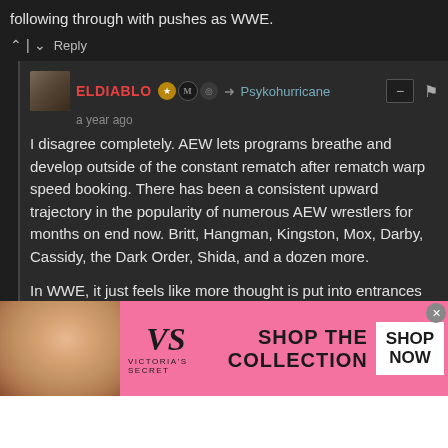following through with pushes as WWE.
^ | v  Reply
ELDIABLO → Psykohurricane
a year ago
I disagree completely. AEW lets programs breathe and develop outside of the constant rematch after rematch warp speed booking. There has been a consistent upward trajectory in the popularity of numerous AEW wrestlers for months on end now. Britt, Hangman, Kingston, Mox, Darby, Cassidy, the Dark Order, Shida, and a dozen more.

In WWE, it just feels like more thought is put into entrances than the booking. WWE has far superior talent, but they all feel so unimportant outside of Roman.
^ | v  Reply
[Figure (screenshot): Victoria's Secret advertisement banner with model photo, VS logo, 'SHOP THE COLLECTION' text, and 'SHOP NOW' button on pink background]